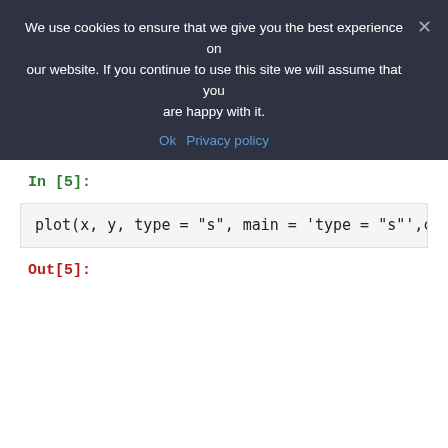We use cookies to ensure that we give you the best experience on our website. If you continue to use this site we will assume that you are happy with it.
Ok   Privacy policy
In [5]:
plot(x, y, type = "s", main = 'type = "s"',c
Out[5]: